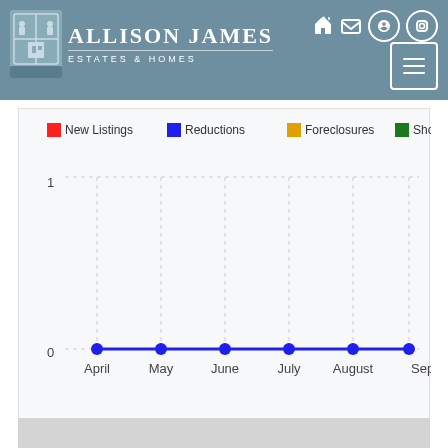[Figure (logo): Allison James Estates & Homes logo with crest icon and brand name]
[Figure (line-chart): ]
[Figure (map): Gray map area at bottom of page]